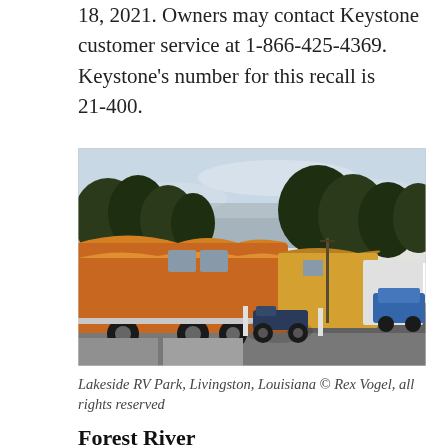18, 2021. Owners may contact Keystone customer service at 1-866-425-4369. Keystone's number for this recall is 21-400.
[Figure (photo): Outdoor photo of an RV park showing a row of large motorhomes and travel trailers parked at sites. A motorcycle is parked in front of the main RV which has a colorful orange and brown flame-style design. Trees visible in background under a partly cloudy sky. Location: Lakeside RV Park, Livingston, Louisiana.]
Lakeside RV Park, Livingston, Louisiana © Rex Vogel, all rights reserved
Forest River